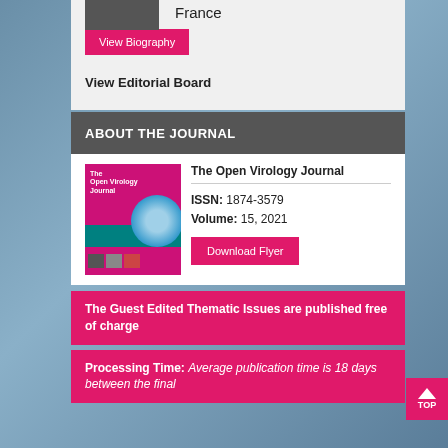France
View Biography
View Editorial Board
ABOUT THE JOURNAL
[Figure (illustration): Cover of The Open Virology Journal showing the journal title, a circular microscopy image, and colorful strip at bottom]
The Open Virology Journal
ISSN: 1874-3579
Volume: 15, 2021
Download Flyer
The Guest Edited Thematic Issues are published free of charge
Processing Time: Average publication time is 18 days between the final